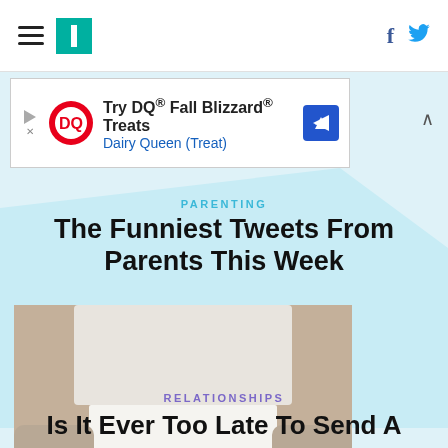HuffPost navigation with hamburger menu, site logo, Facebook and Twitter icons
[Figure (screenshot): Dairy Queen advertisement banner: Try DQ® Fall Blizzard® Treats - Dairy Queen (Treat) with DQ logo and navigation arrow]
PARENTING
The Funniest Tweets From Parents This Week
[Figure (photo): Person holding a white card with the word THANKS printed in copper/rose gold letters]
RELATIONSHIPS
Is It Ever Too Late To Send A